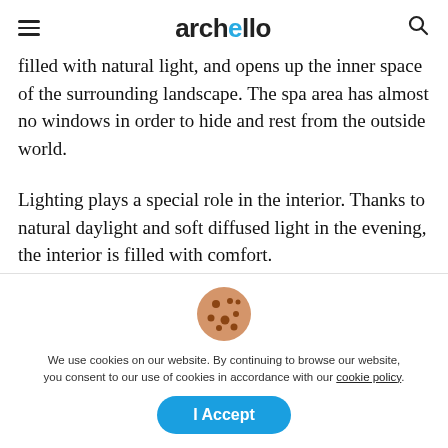archello
filled with natural light, and opens up the inner space of the surrounding landscape. The spa area has almost no windows in order to hide and rest from the outside world.
Lighting plays a special role in the interior. Thanks to natural daylight and soft diffused light in the evening, the interior is filled with comfort.
We use cookies on our website. By continuing to browse our website, you consent to our use of cookies in accordance with our cookie policy.